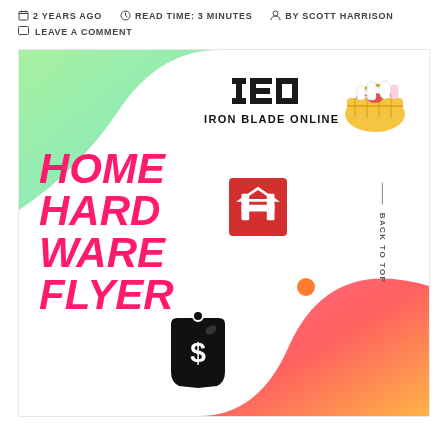2 YEARS AGO   READ TIME: 3 MINUTES   BY SCOTT HARRISON
LEAVE A COMMENT
[Figure (illustration): Home Hardware Flyer promotional banner image with Iron Blade Online logo, Home Hardware logo, price tag icon, decorative blobs in green and pink/orange gradients, and a basket illustration.]